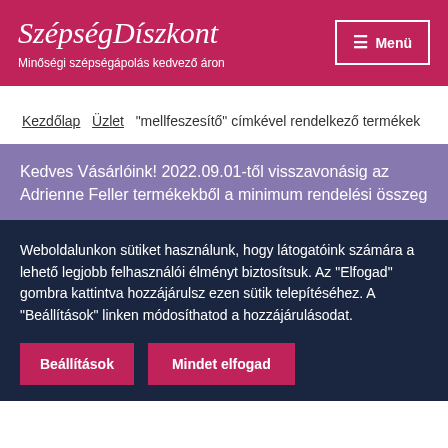SzépségDíszkont – Minőségi szépségápolás kedvező áron
Kezdőlap  Üzlet  "mellfeszesítő" címkével rendelkező termékek
Kedves Vásárlóink! 2022.09.01-től visszavonásig az Adrienne Feller termékekből a minimum rendelési összeg
Weboldalunkon sütiket használunk, hogy látogatóink számára a lehető legjobb felhasználói élményt biztosítsuk. Az "Elfogad" gombra kattintva hozzájárulsz ezen sütik telepítéséhez. A "Beállítások" linken módosíthatod a hozzájárulásodat.
Beállítások  Mindet elfogad